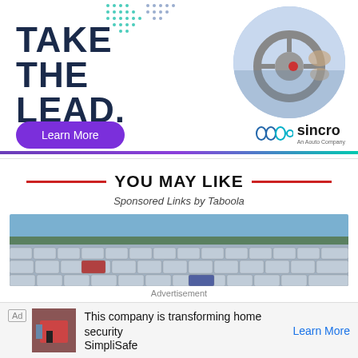[Figure (infographic): Advertisement banner for Sincro featuring bold text 'TAKE THE LEAD.' on the left with a teal/purple dot pattern, a circular photo of hands on a car steering wheel on the right, a purple 'Learn More' button, and the Sincro logo (An Aouto Company) at bottom right. A gradient bar (purple to teal) runs across the bottom of the banner.]
YOU MAY LIKE
Sponsored Links by Taboola
[Figure (photo): Wide aerial photograph of a large car lot filled with densely parked vehicles, with open landscape in the background.]
Advertisement
[Figure (infographic): Bottom advertisement bar with 'Ad' label, small thumbnail of a home security device, text 'This company is transforming home security SimpliSafe' and a 'Learn More' link in blue.]